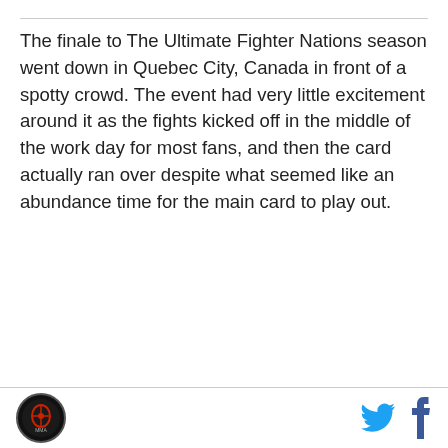The finale to The Ultimate Fighter Nations season went down in Quebec City, Canada in front of a spotty crowd. The event had very little excitement around it as the fights kicked off in the middle of the work day for most fans, and then the card actually ran over despite what seemed like an abundance time for the main card to play out.
[Figure (logo): Circular logo with dark background and red/white graphic design, appears to be a sports media outlet logo]